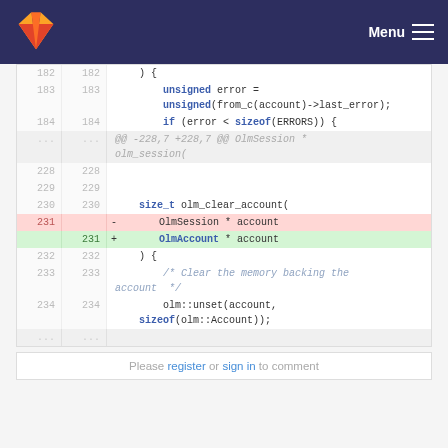GitLab Menu
[Figure (screenshot): GitLab code diff view showing changes to olm_clear_account function, replacing OlmSession * account with OlmAccount * account on line 231]
Please register or sign in to comment